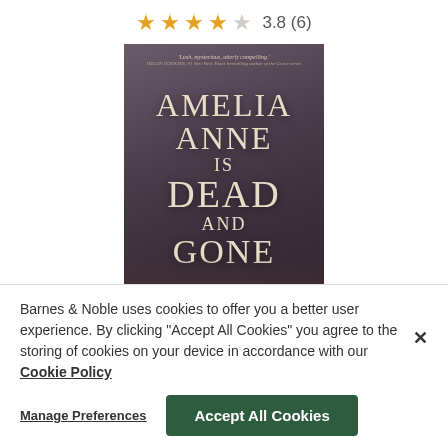[Figure (other): Star rating showing 3.8 out of 5 stars (4 filled gold stars, 1 empty), with text '3.8 (6)' to the right]
[Figure (photo): Book cover of 'Amelia Anne is Dead and Gone' with dark purple/brown background, cream serif title text, small blurb quote at top, and hands visible at the bottom]
Barnes & Noble uses cookies to offer you a better user experience. By clicking "Accept All Cookies" you agree to the storing of cookies on your device in accordance with our Cookie Policy
Manage Preferences
Accept All Cookies